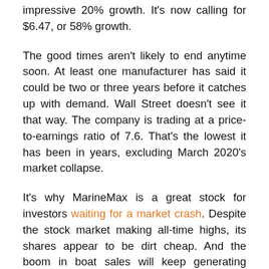impressive 20% growth. It's now calling for $6.47, or 58% growth.
The good times aren't likely to end anytime soon. At least one manufacturer has said it could be two or three years before it catches up with demand. Wall Street doesn't see it that way. The company is trading at a price-to-earnings ratio of 7.6. That's the lowest it has been in years, excluding March 2020's market collapse.
It's why MarineMax is a great stock for investors waiting for a market crash. Despite the stock market making all-time highs, its shares appear to be dirt cheap. And the boom in boat sales will keep generating profits for years to come.
A growing company with